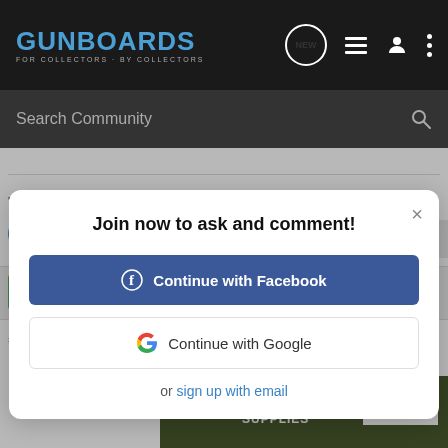GUNBOARDS FOR COLLECTORS · BY COLLECTORS
Search Community
[Figure (screenshot): Modal dialog over Gunboards forum page with options to join: Continue with Facebook, Continue with Google, or sign up with email]
Join now to ask and comment!
Continue with Facebook
Continue with Google
or sign up with email
Yep app... haring your ne...
[Figure (screenshot): Cabela's banner ad: RELOADING SUPPLIES SHOP NOW]